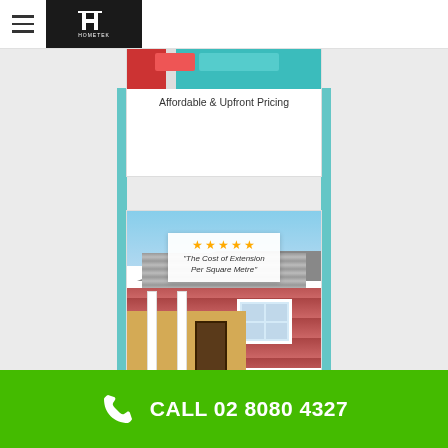Hometek logo and navigation menu
Affordable & Upfront Pricing
[Figure (photo): Photo of a brick house extension with a tiled roof and white columns, with an overlay badge showing 5 stars and the text 'The Cost of Extension Per Square Metre' and an Extension Builders Sydney Experts brand logo at the bottom]
How Much Do Landscape Designers Get Paid? Bordering Gymea Hazelhurst Arts Centre
CALL 02 8080 4327